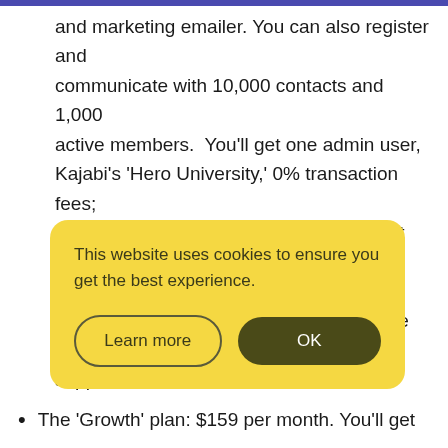and marketing emailer. You can also register and communicate with 10,000 contacts and 1,000 active members.  You'll get one admin user, Kajabi's 'Hero University,' 0% transaction fees; you can run live webinars and events, get access to ready-to-use templates, set student quizzes and surveys, and benefit from live chat support.
The 'Growth' plan: $159 per month. You'll get
This website uses cookies to ensure you get the best experience.
...access to everything listed in the previous two bundles